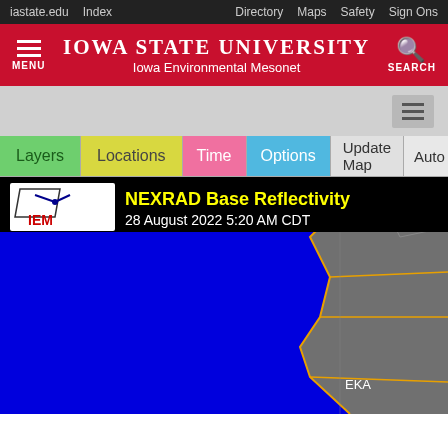iastate.edu  Index  Directory  Maps  Safety  Sign Ons
IOWA STATE UNIVERSITY Iowa Environmental Mesonet
[Figure (screenshot): Iowa State University Iowa Environmental Mesonet website header with red background, menu icon, university name and search icon]
[Figure (map): NEXRAD Base Reflectivity map dated 28 August 2022 5:20 AM CDT showing radar reflectivity over the western US coast with blue ocean area and gray land with orange/yellow county borders. Station label EKA visible. IEM logo in upper left corner.]